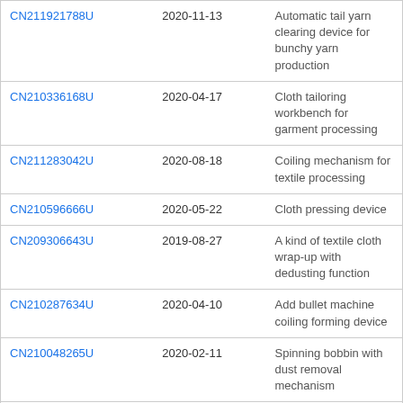| CN211921788U | 2020-11-13 | Automatic tail yarn clearing device for bunchy yarn production |
| CN210336168U | 2020-04-17 | Cloth tailoring workbench for garment processing |
| CN211283042U | 2020-08-18 | Coiling mechanism for textile processing |
| CN210596666U | 2020-05-22 | Cloth pressing device |
| CN209306643U | 2019-08-27 | A kind of textile cloth wrap-up with dedusting function |
| CN210287634U | 2020-04-10 | Add bullet machine coiling forming device |
| CN210048265U | 2020-02-11 | Spinning bobbin with dust removal mechanism |
| CN211687764U | 2020-10-16 | High-efficiency energy-saving spinning machine bobbin mechanism |
| CN213445587U | 2021-06-15 | Simple structure and convenient and |